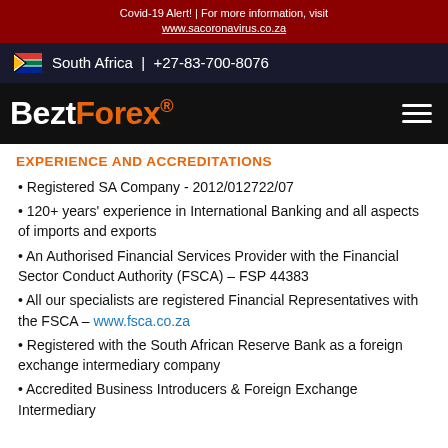Covid-19 Alert! | For more information, visit www.sacoronavirus.co.za
South Africa | +27-83-700-8076
BeztForex®
EXPERIENCE AND ACCREDITATIONS
Registered SA Company - 2012/012722/07
120+ years' experience in International Banking and all aspects of imports and exports
An Authorised Financial Services Provider with the Financial Sector Conduct Authority (FSCA) – FSP 44383
All our specialists are registered Financial Representatives with the FSCA – www.fsca.co.za
Registered with the South African Reserve Bank as a foreign exchange intermediary company
Accredited Business Introducers & Foreign Exchange Intermediary